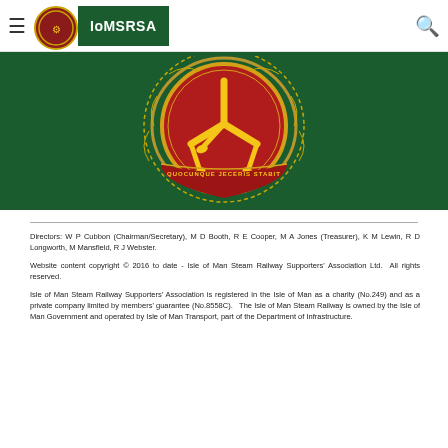≡ IoMSRSA 🔍
[Figure (illustration): Isle of Man coat of arms / emblem on dark green background, featuring three legs (triskelion) in red and gold decorative surround]
Directors: W P Cubbon (Chairman/Secretary), M D Booth, R E Cooper, M A Jones (Treasurer), K M Lewin, R D Longworth, M Mansfield, R J Webster.
Website content copyright © 2016 to date - Isle of Man Steam Railway Supporters' Association Ltd. All rights reserved.
Isle of Man Steam Railway Supporters' Association is registered in the Isle of Man as a charity (No.249) and as a private company limited by members' guarantee (No.8558C). The Isle of Man Steam Railway is owned by the Isle of Man Government and operated by Isle of Man Transport, part of the Department of Infrastructure.